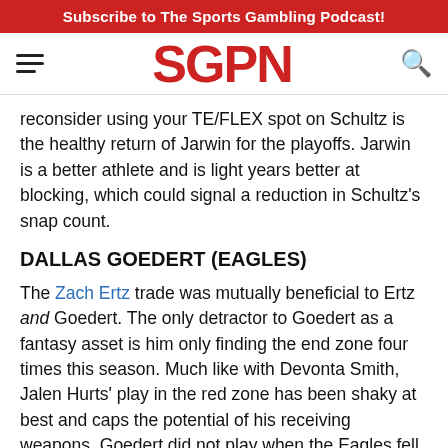Subscribe to The Sports Gambling Podcast!
[Figure (logo): SGPN logo in red bold letters with hamburger menu icon on left and search icon on right]
reconsider using your TE/FLEX spot on Schultz is the healthy return of Jarwin for the playoffs. Jarwin is a better athlete and is light years better at blocking, which could signal a reduction in Schultz's snap count.
DALLAS GOEDERT (EAGLES)
The Zach Ertz trade was mutually beneficial to Ertz and Goedert. The only detractor to Goedert as a fantasy asset is him only finding the end zone four times this season. Much like with Devonta Smith, Jalen Hurts' play in the red zone has been shaky at best and caps the potential of his receiving weapons. Goedert did not play when the Eagles fell